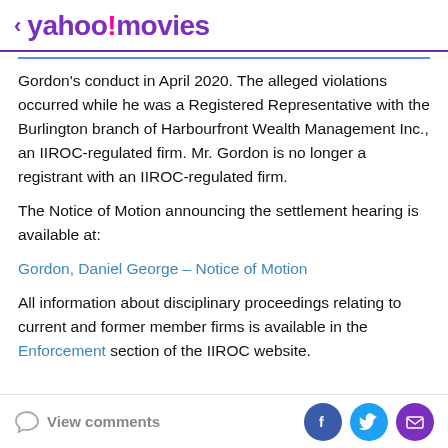< yahoo!movies
Gordon's conduct in April 2020. The alleged violations occurred while he was a Registered Representative with the Burlington branch of Harbourfront Wealth Management Inc., an IIROC-regulated firm. Mr. Gordon is no longer a registrant with an IIROC-regulated firm.
The Notice of Motion announcing the settlement hearing is available at:
Gordon, Daniel George – Notice of Motion
All information about disciplinary proceedings relating to current and former member firms is available in the Enforcement section of the IIROC website.
View comments